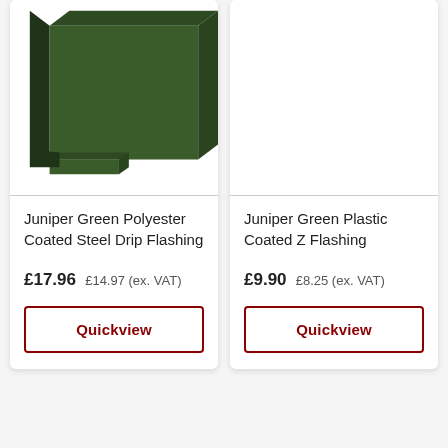[Figure (photo): Dark green J-shaped steel drip flashing piece shown at an angle on white background]
Juniper Green Polyester Coated Steel Drip Flashing
£17.96 £14.97 (ex. VAT)
Quickview
Juniper Green Plastic Coated Z Flashing
£9.90 £8.25 (ex. VAT)
Quickview